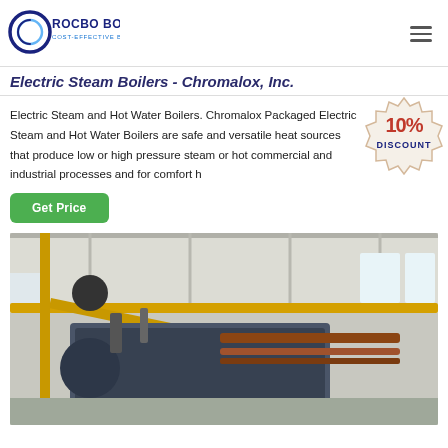[Figure (logo): Rocbo Boiler logo with circular C graphic and tagline 'COST-EFFECTIVE BOILER SUPPLIER']
Electric Steam Boilers - Chromalox, Inc.
Electric Steam and Hot Water Boilers. Chromalox Packaged Electric Steam and Hot Water Boilers are safe and versatile heat sources that produce low or high pressure steam or hot commercial and industrial processes and for comfort h
[Figure (illustration): 10% DISCOUNT badge/sticker overlay]
[Figure (photo): Industrial boiler room interior showing yellow pipes, ceiling structure, and large boiler equipment with pipes and fittings]